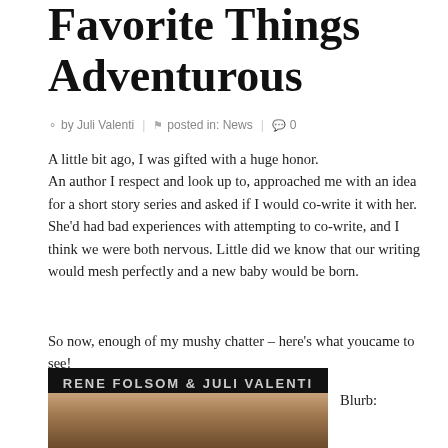Favorite Things Adventurous
by Juli Valenti | posted in: News | 0
A little bit ago, I was gifted with a huge honor. An author I respect and look up to, approached me with an idea for a short story series and asked if I would co-write it with her. She'd had bad experiences with attempting to co-write, and I think we were both nervous. Little did we know that our writing would mesh perfectly and a new baby would be born.
So now, enough of my mushy chatter – here's what youcame to see!
[Figure (photo): Book cover with dark background showing authors RENE FOLSOM & JULI VALENTI and a woman's face]
Blurb: